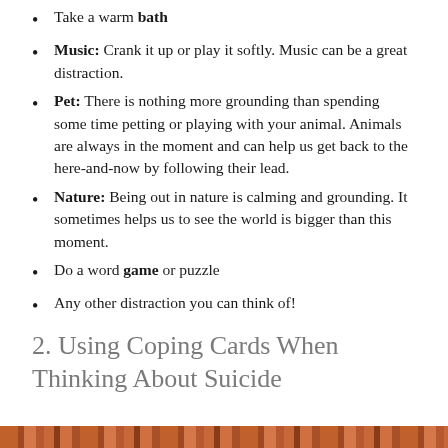Take a warm bath
Music: Crank it up or play it softly. Music can be a great distraction.
Pet: There is nothing more grounding than spending some time petting or playing with your animal. Animals are always in the moment and can help us get back to the here-and-now by following their lead.
Nature: Being out in nature is calming and grounding. It sometimes helps us to see the world is bigger than this moment.
Do a word game or puzzle
Any other distraction you can think of!
2. Using Coping Cards When Thinking About Suicide
[Figure (photo): Decorative brick or tile texture strip at the bottom of the page in warm red-orange tones.]